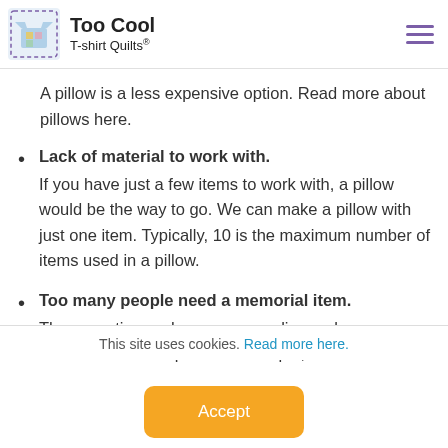Too Cool T-shirt Quilts
A pillow is a less expensive option. Read more about pillows here.
Lack of material to work with. If you have just a few items to work with, a pillow would be the way to go. We can make a pillow with just one item. Typically, 10 is the maximum number of items used in a pillow.
Too many people need a memorial item. There are times when someone dies and everyone wants or needs a quilt. For example, Grandmother
This site uses cookies. Read more here.
Accept